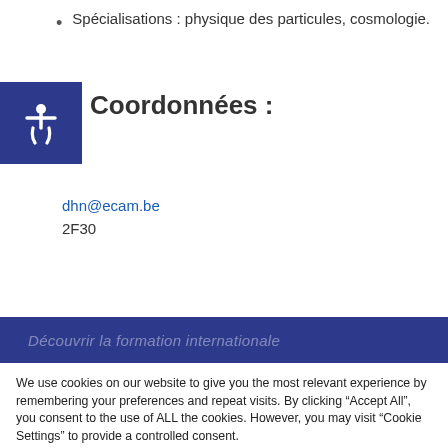Spécialisations : physique des particules, cosmologie.
Coordonnées :
dhn@ecam.be
2F30
We use cookies on our website to give you the most relevant experience by remembering your preferences and repeat visits. By clicking "Accept All", you consent to the use of ALL the cookies. However, you may visit "Cookie Settings" to provide a controlled consent.